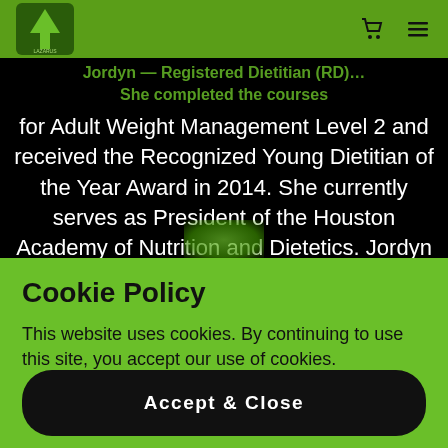Lazarus House — navigation bar with logo, cart and menu icons
Jordyn — Registered Dietitian (RD)… She completed the courses for Adult Weight Management Level 2 and received the Recognized Young Dietitian of the Year Award in 2014. She currently serves as President of the Houston Academy of Nutrition and Dietetics. Jordyn focuses on debunking nutr
+ Show More
Cookie Policy
This website uses cookies. By continuing to use this site, you accept our use of cookies.
Accept & Close